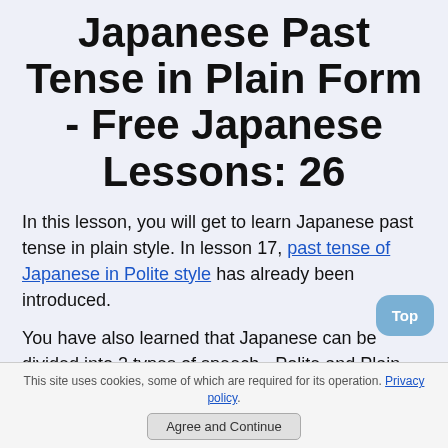Japanese Past Tense in Plain Form - Free Japanese Lessons: 26
In this lesson, you will get to learn Japanese past tense in plain style. In lesson 17, past tense of Japanese in Polite style has already been introduced.
You have also learned that Japanese can be divided into 2 types of speech - Polite and Plain styles (or forms) in lesson 18 - Japanese verbs.
This site uses cookies, some of which are required for its operation. Privacy policy. Agree and Continue